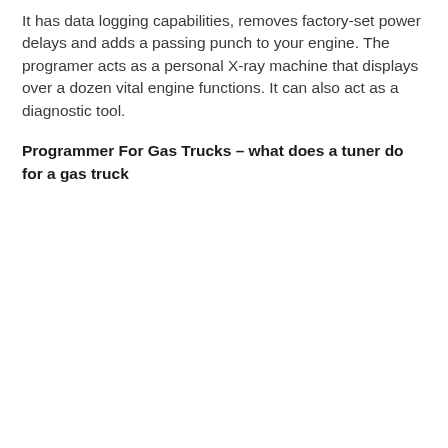It has data logging capabilities, removes factory-set power delays and adds a passing punch to your engine. The programer acts as a personal X-ray machine that displays over a dozen vital engine functions. It can also act as a diagnostic tool.
Programmer For Gas Trucks – what does a tuner do for a gas truck